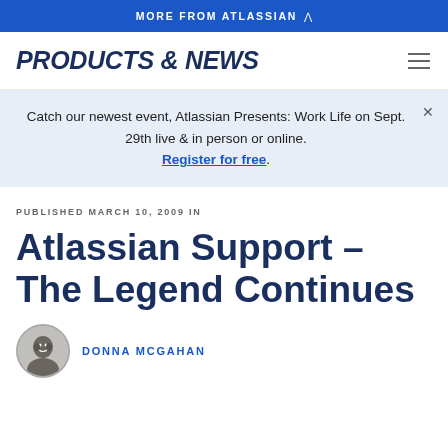MORE FROM ATLASSIAN
PRODUCTS & NEWS
Catch our newest event, Atlassian Presents: Work Life on Sept. 29th live & in person or online. Register for free.
PUBLISHED MARCH 10, 2009 IN
Atlassian Support – The Legend Continues
DONNA MCGAHAN